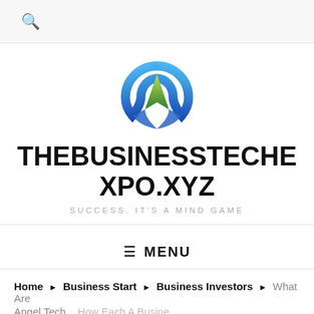🔍
[Figure (logo): Circular logo with blue swoosh arcs and a green tree/mountain shape in the center]
THEBUSINESSTECHEXPO.XYZ
SUCCESS. IT'S A MIND GAME
≡ MENU
Home › Business Start › Business Investors › What Are Angel Tech... How Each A Busine...